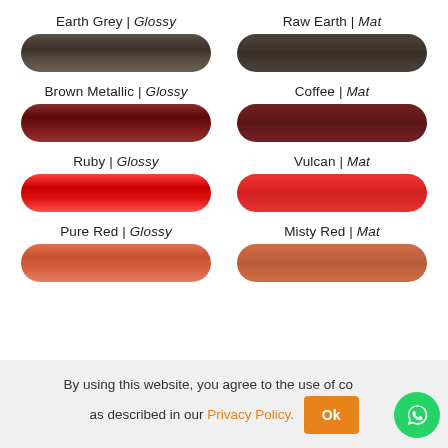Earth Grey | Glossy
Raw Earth | Mat
[Figure (illustration): Cylindrical rod swatch in dark brownish-grey glossy finish (Earth Grey)]
[Figure (illustration): Cylindrical rod swatch in dark brownish-grey matte finish (Raw Earth)]
Brown Metallic | Glossy
Coffee | Mat
[Figure (illustration): Cylindrical rod swatch in dark crimson glossy finish (Brown Metallic)]
[Figure (illustration): Cylindrical rod swatch in dark maroon matte finish (Coffee)]
Ruby | Glossy
Vulcan | Mat
[Figure (illustration): Cylindrical rod swatch in bright red glossy finish (Ruby)]
[Figure (illustration): Cylindrical rod swatch in bright red matte finish (Vulcan)]
Pure Red | Glossy
Misty Red | Mat
[Figure (illustration): Cylindrical rod swatch in terracotta/burnt orange glossy finish (Pure Red)]
[Figure (illustration): Cylindrical rod swatch in terracotta matte finish (Misty Red)]
By using this website, you agree to the use of cookies as described in our Privacy Policy.